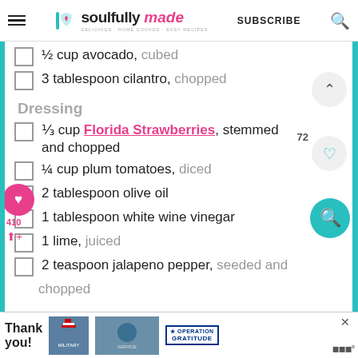soulfully made — SUBSCRIBE
½ cup avocado, cubed
3 tablespoon cilantro, chopped
Dressing
⅓ cup Florida Strawberries, stemmed and chopped
¼ cup plum tomatoes, diced
2 tablespoon olive oil
1 tablespoon white wine vinegar
1 lime, juiced
2 teaspoon jalapeno pepper, seeded and chopped
[Figure (infographic): Advertisement banner at bottom: Thank you military appreciation Operation Gratitude ad]